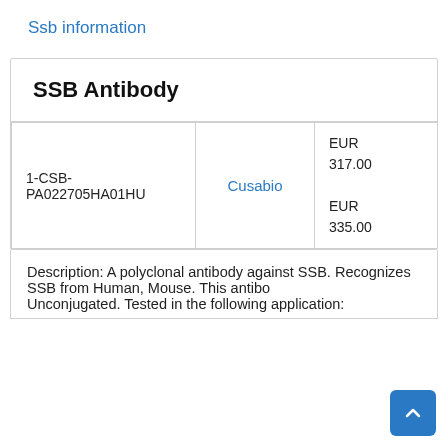Ssb information
| Cat ID | Supplier | Price | Size |
| --- | --- | --- | --- |
| 1-CSB-PA022705HA01HU | Cusabio | EUR 317.00
EUR 335.00 | 100
50 |
Description: A polyclonal antibody against SSB. Recognizes SSB from Human, Mouse. This antibody is Unconjugated. Tested in the following application: